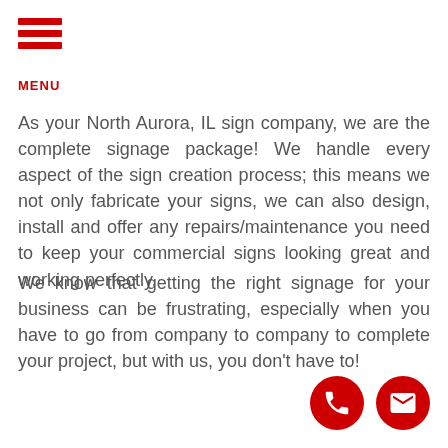[Figure (logo): Hamburger menu icon with three red horizontal bars and red MENU text below]
As your North Aurora, IL sign company, we are the complete signage package! We handle every aspect of the sign creation process; this means we not only fabricate your signs, we can also design, install and offer any repairs/maintenance you need to keep your commercial signs looking great and working perfectly.
We know that getting the right signage for your business can be frustrating, especially when you have to go from company to company to complete your project, but with us, you don't have to!
[Figure (illustration): Two red circular icon buttons at bottom right: a phone/handset icon and an envelope/mail icon]